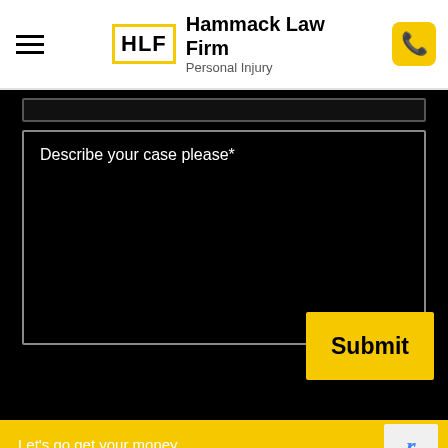Hammack Law Firm — Personal Injury
Describe your case please*
Let's go get your money
Submit
LIVE CHAT  START NOW